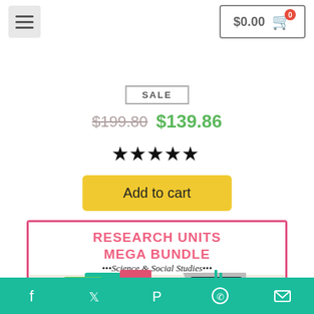$0.00 cart
SALE
$199.80 $139.86
[Figure (illustration): Five black filled star rating icons in a row]
Add to cart
[Figure (illustration): Research Units Mega Bundle - Science & Social Studies product image showing colorful school supplies, cards reading YOU'RE INVITED! and ocean, and a tablet showing MY ANCIENT CIVILIZATIONS RESEARCH JOURNAL]
Share icons: Facebook, Twitter, Pinterest, WhatsApp, Email